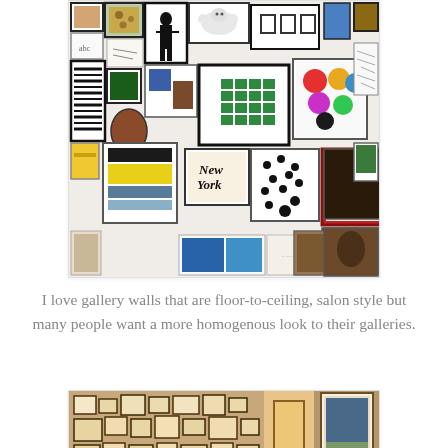[Figure (photo): A gallery wall covered floor-to-ceiling with many framed artworks of various sizes, styles, and subjects arranged salon style on a white wall.]
I love gallery walls that are floor-to-ceiling, salon style but many people want a more homogenous look to their galleries.
[Figure (photo): A hallway or staircase wall densely covered with framed pictures and photographs in warm brown/gold tones, with a doorway visible at the end.]